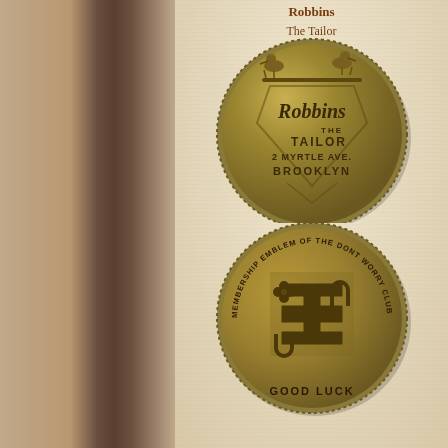Robbins
The Tailor
Brooklyn
[Figure (photo): Brass/bronze coin token showing 'Robbins The Tailor, 2 Myrtle Ave., Brooklyn' with two birds perched on top of a decorative shield design]
[Figure (photo): Brass/bronze coin token showing 'Membership Emblem of the Dont Worry Club' around the edge with lucky symbols (four-leaf clover, horseshoe, swastika, horseshoe) and 'Good Luck' at bottom]